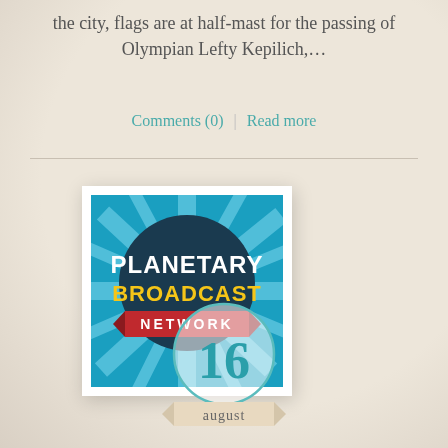the city, flags are at half-mast for the passing of Olympian Lefty Kepilich,…
Comments (0)  |  Read more
[Figure (logo): Planetary Broadcast Network logo — blue starburst background with dark circle, white text 'PLANETARY' and yellow 'BROADCAST', red banner with white 'NETWORK']
[Figure (infographic): Date badge showing '16' in teal bold numerals inside a circle outline, with a ribbon banner below reading 'august']